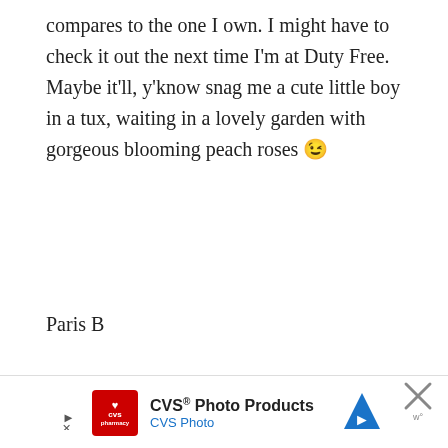compares to the one I own. I might have to check it out the next time I'm at Duty Free. Maybe it'll, y'know snag me a cute little boy in a tux, waiting in a lovely garden with gorgeous blooming peach roses 😉
Paris B
Miss Dior Blooming Bouquet retails at RM235/50ml and RM340/100ml and is available at all Dior counters
[Figure (screenshot): CVS Photo Products advertisement banner with CVS pharmacy logo, navigation arrow icon, and close button]